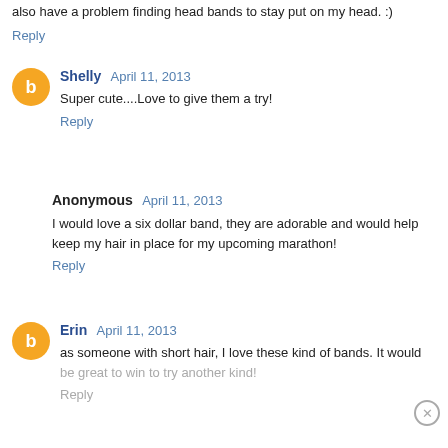also have a problem finding head bands to stay put on my head. :)
Reply
Shelly  April 11, 2013
Super cute....Love to give them a try!
Reply
Anonymous  April 11, 2013
I would love a six dollar band, they are adorable and would help keep my hair in place for my upcoming marathon!
Reply
Erin  April 11, 2013
as someone with short hair, I love these kind of bands. It would be great to win to try another kind!
Reply